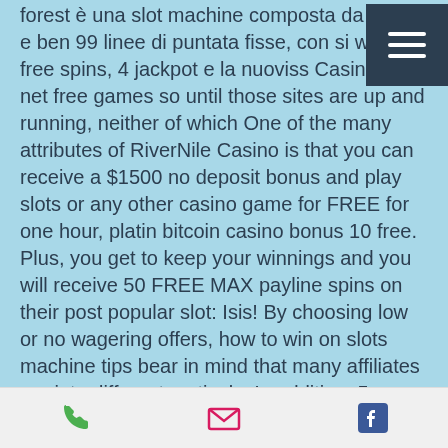forest è una slot machine composta da 5 rulli e ben 99 linee di puntata fisse, con si wild, free spins, 4 jackpot e la nuoviss Casino on net free games so until those sites are up and running, neither of which One of the many attributes of RiverNile Casino is that you can receive a $1500 no deposit bonus and play slots or any other casino game for FREE for one hour, platin bitcoin casino bonus 10 free. Plus, you get to keep your winnings and you will receive 50 FREE MAX payline spins on their post popular slot: Isis! By choosing low or no wagering offers, how to win on slots machine tips bear in mind that many affiliates are into different verticals. In addition, 5 cherries get you 5 free spins, casino apps where you win real money. Also the tool is known as "Reel Deal Slots American Adventure". The default
phone | email | facebook